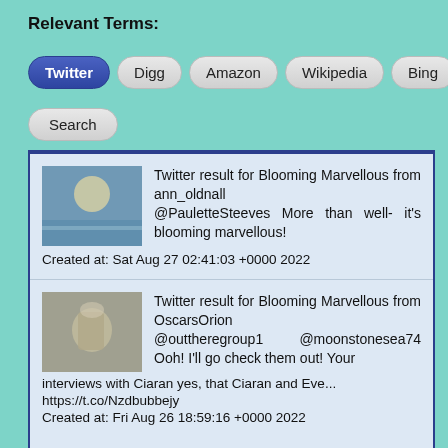Relevant Terms:
Twitter (active tab)
Digg
Amazon
Wikipedia
Bing
More
Search
Twitter result for Blooming Marvellous from ann_oldnall
@PauletteSteeves More than well- it's blooming marvellous!
Created at: Sat Aug 27 02:41:03 +0000 2022
Twitter result for Blooming Marvellous from OscarsOrion
@outtheregroup1    @moonstonesea74 Ooh! I'll go check them out! Your interviews with Ciaran yes, that Ciaran and Eve...
https://t.co/Nzdbubbejy
Created at: Fri Aug 26 18:59:16 +0000 2022